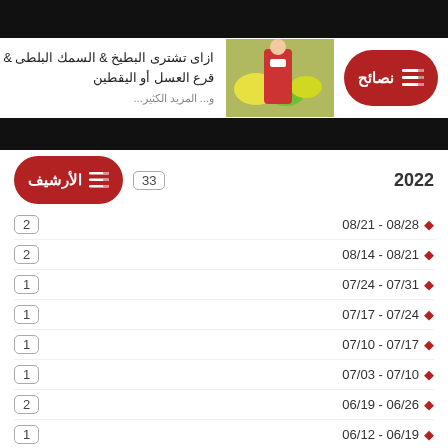[Figure (screenshot): Black top banner bar]
ازاى تشترى البطيخ & السمك البلطى & قرع العسل أو اليقطين
[Figure (photo): Thumbnail image of a person in a market with produce]
نصائح
الأرشيف 2022 33
08/28 - 08/21  2
08/21 - 08/14  2
07/31 - 07/24  1
07/24 - 07/17  1
07/17 - 07/10  1
07/10 - 07/03  1
06/26 - 06/19  2
06/19 - 06/12  1
06/12 - 06/05  1
06/05 - 05/29  2
05/29 - 05/22  1